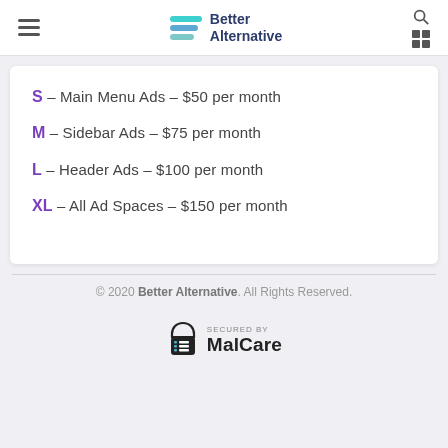Better Alternative
S – Main Menu Ads – $50 per month
M – Sidebar Ads – $75 per month
L – Header Ads – $100 per month
XL – All Ad Spaces – $150 per month
© 2020 Better Alternative. All Rights Reserved.
[Figure (logo): SECURED by MalCare logo badge]